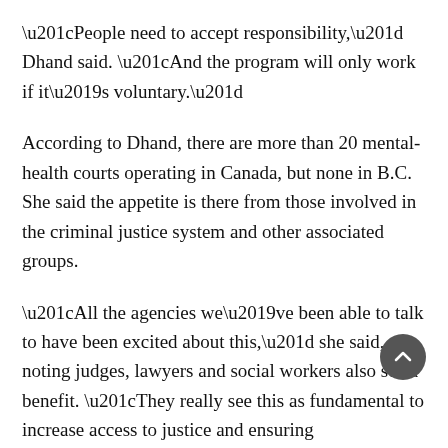“People need to accept responsibility,” Dhand said. “And the program will only work if it’s voluntary.”
According to Dhand, there are more than 20 mental-health courts operating in Canada, but none in B.C. She said the appetite is there from those involved in the criminal justice system and other associated groups.
“All the agencies we’ve been able to talk to have been excited about this,” she said, noting judges, lawyers and social workers also see a benefit. “They really see this as fundamental to increase access to justice and ensuring fairness.”
Stanford said organizers held a meeting last fall and the plan is to pitch the idea to the Provincial Court of B.C.’s judicial council later this...